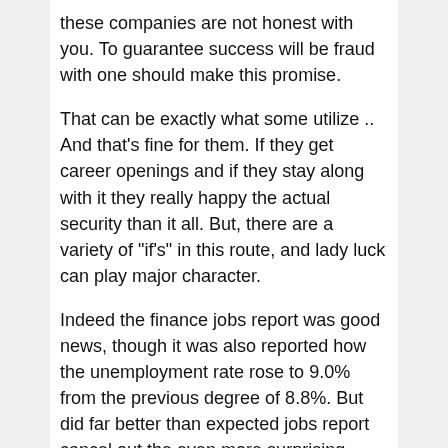these companies are not honest with you. To guarantee success will be fraud with one should make this promise.
That can be exactly what some utilize .. And that’s fine for them. If they get career openings and if they stay along with it they really happy the actual security than it all. But, there are a variety of “if’s” in this route, and lady luck can play major character.
Indeed the finance jobs report was good news, though it was also reported how the unemployment rate rose to 9.0% from the previous degree of 8.8%. But did far better than expected jobs report cancel out the even more surprising plunge in the ISM service sector index in April, reported the day before?
These seven steps will allow you to you to obtain a good grip onto your personal finance. You will possess the ability to begin plan repayment of debts, see a person are are buying wisely and develop a blueprint to make sure you are never overspending and your personal needs are